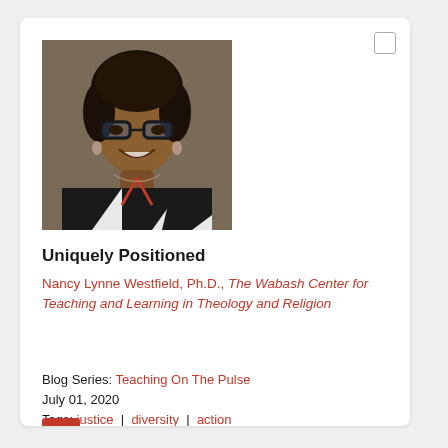[Figure (photo): Headshot of Nancy Lynne Westfield, Ph.D., a woman with short dark hair, glasses, wearing a black-and-white patterned top and a red lanyard, smiling.]
Uniquely Positioned
Nancy Lynne Westfield, Ph.D., The Wabash Center for Teaching and Learning in Theology and Religion
Blog Series: Teaching On The Pulse
July 01, 2020
Tags: justice | diversity | action
[Figure (other): PDF download icon]